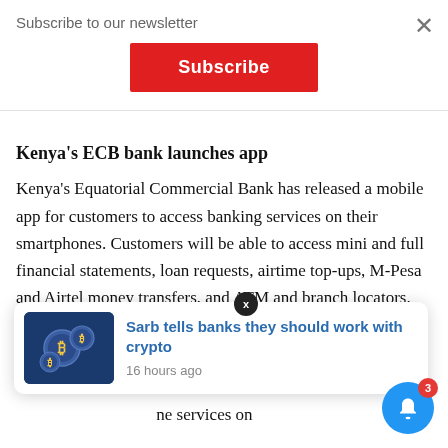Subscribe to our newsletter
[Figure (screenshot): Red Subscribe button]
Kenya's ECB bank launches app
Kenya's Equatorial Commercial Bank has released a mobile app for customers to access banking services on their smartphones. Customers will be able to access mini and full financial statements, loan requests, airtime top-ups, M-Pesa and Airtel money transfers, and ATM and branch locators. The app can be downloaded for Android, iOS and BlackBerry smartphones with a basic Web-based version for Wap-enabled feature phones. A USSD code, [partially obscured] ne services on
[Figure (screenshot): Notification popup: 'Sarb tells banks they should work with crypto' with crypto coin image thumbnail and timestamp '16 hours ago']
S... (partial article section text)